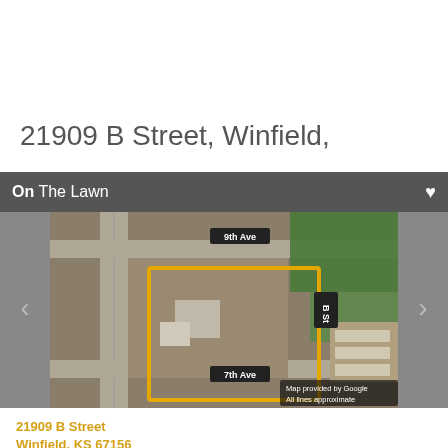21909 B Street, Winfield,
On The Lawn
[Figure (map): Aerial satellite map showing property at 21909 B Street, Winfield, KS. Property boundary outlined in yellow/orange. Street labels show 9th Ave at top, 7th Ave at bottom, B St on right side. Map provided by Google, All lines approximate.]
21909 B Street
Winfield, KS 67156
Property Type: Industrial